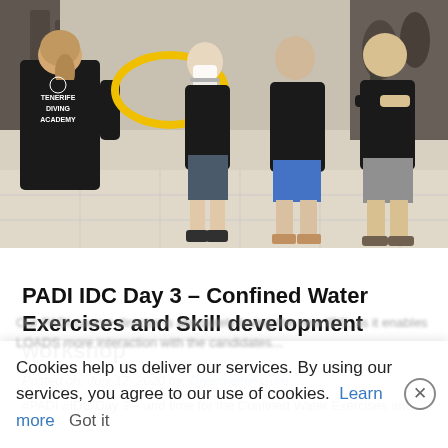[Figure (photo): Indoor diving training session at Tenerife Diving Academy. A woman in a black t-shirt with 'Tenerife Diving Academy' text seen from behind, holding a yellow hoop/snorkel. Three men in black t-shirts stand in front of her in an indoor dive shop setting with equipment visible in the background.]
PADI IDC Day 3 – Confined Water Exercises and Skill development workshop
Posted on: July 17, 2020 by: Divemaster-Guru
#PADI #IDC Day 3 – and time for the Confined Water Exercises and
Cookies help us deliver our services. By using our services, you agree to our use of cookies. Learn more Got it
Our PADI course director is absolutely loving the new IDS, as it enables LOADS more interaction with the candidates...